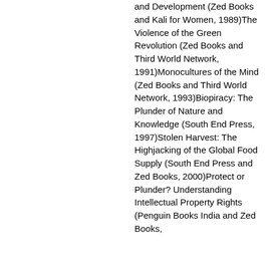and Development (Zed Books and Kali for Women, 1989)The Violence of the Green Revolution (Zed Books and Third World Network, 1991)Monocultures of the Mind (Zed Books and Third World Network, 1993)Biopiracy: The Plunder of Nature and Knowledge (South End Press, 1997)Stolen Harvest: The Highjacking of the Global Food Supply (South End Press and Zed Books, 2000)Protect or Plunder? Understanding Intellectual Property Rights (Penguin Books India and Zed Books,